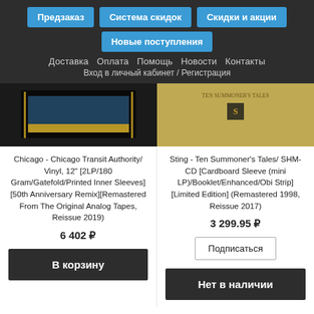Предзаказ | Система скидок | Скидки и акции | Новые поступления
Доставка  Оплата  Помощь  Новости  Контакты
Вход в личный кабинет / Регистрация
[Figure (photo): Album cover left - Chicago Transit Authority vinyl dark background with blue and gold design]
[Figure (photo): Album cover right - Sting Ten Summoner's Tales yellowish cover]
Chicago - Chicago Transit Authority/ Vinyl, 12" [2LP/180 Gram/Gatefold/Printed Inner Sleeves][50th Anniversary Remix][Remastered From The Original Analog Tapes, Reissue 2019)
Sting - Ten Summoner's Tales/ SHM-CD [Cardboard Sleeve (mini LP)/Booklet/Enhanced/Obi Strip][Limited Edition] (Remastered 1998, Reissue 2017)
6 402 ₽
3 299.95 ₽
В корзину
Подписаться
Нет в наличии